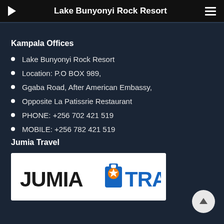Lake Bunyonyi Rock Resort
Kampala Offices
Lake Bunyonyi Rock Resort
Location: P.O BOX 989,
Ggaba Road, After American Embassy,
Opposite La Patissrie Restaurant
PHONE: +256 702 421 519
MOBILE: +256 782 421 519
Jumia Travel
[Figure (logo): Jumia Travel logo — black JUMIA text and blue TRAVEL text with an orange suitcase/star icon between them, on white background]